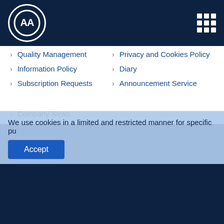[Figure (logo): AA logo in white circle on dark navy header bar with grid icon on right]
Quality Management
Privacy and Cookies Policy
Information Policy
Diary
Subscription Requests
Announcement Service
Company News
Finance Terminal
Anadolu Images
Energy Terminal
News Academy
mobile services
IPhone Application
We use cookies in a limited and restricted manner for specific pu
Accept